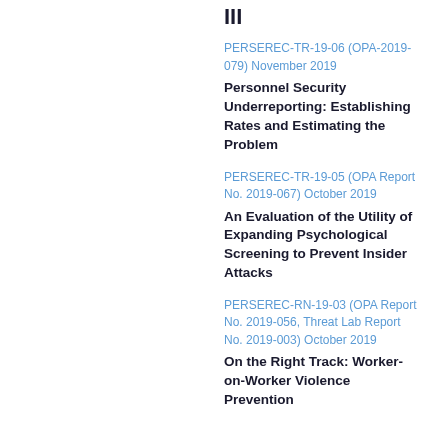III
PERSEREC-TR-19-06 (OPA-2019-079) November 2019
Personnel Security Underreporting: Establishing Rates and Estimating the Problem
PERSEREC-TR-19-05 (OPA Report No. 2019-067) October 2019
An Evaluation of the Utility of Expanding Psychological Screening to Prevent Insider Attacks
PERSEREC-RN-19-03 (OPA Report No. 2019-056, Threat Lab Report No. 2019-003) October 2019
On the Right Track: Worker-on-Worker Violence Prevention